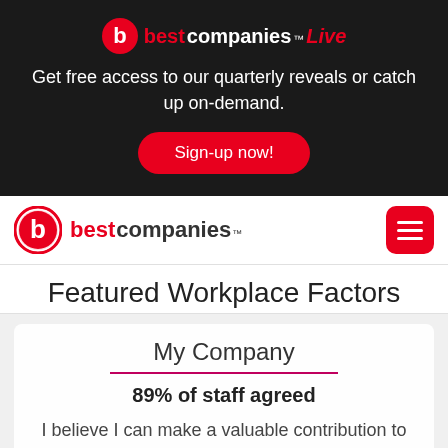[Figure (logo): Best Companies Live logo with red circle containing white 'b', red 'best', white 'companies', red italic 'live' text]
Get free access to our quarterly reveals or catch up on-demand.
Sign-up now!
[Figure (logo): Best Companies logo with red circle containing white 'b', red 'best', dark 'companies' with TM superscript]
Featured Workplace Factors
My Company
89% of staff agreed
I believe I can make a valuable contribution to the success of this organisation